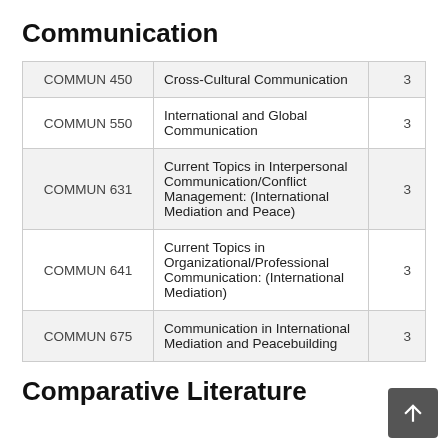Communication
|  |  |  |
| --- | --- | --- |
| COMMUN 450 | Cross-Cultural Communication | 3 |
| COMMUN 550 | International and Global Communication | 3 |
| COMMUN 631 | Current Topics in Interpersonal Communication/Conflict Management: (International Mediation and Peace) | 3 |
| COMMUN 641 | Current Topics in Organizational/Professional Communication: (International Mediation) | 3 |
| COMMUN 675 | Communication in International Mediation and Peacebuilding | 3 |
Comparative Literature